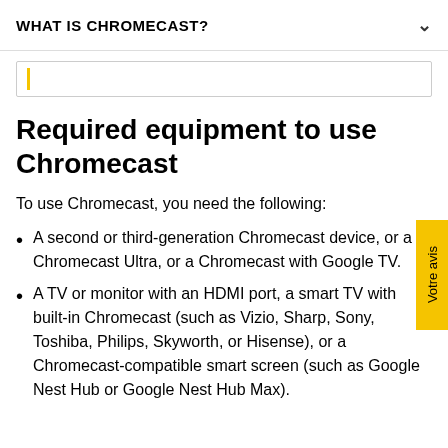WHAT IS CHROMECAST?
Required equipment to use Chromecast
To use Chromecast, you need the following:
A second or third-generation Chromecast device, or a Chromecast Ultra, or a Chromecast with Google TV.
A TV or monitor with an HDMI port, a smart TV with built-in Chromecast (such as Vizio, Sharp, Sony, Toshiba, Philips, Skyworth, or Hisense), or a Chromecast-compatible smart screen (such as Google Nest Hub or Google Nest Hub Max).